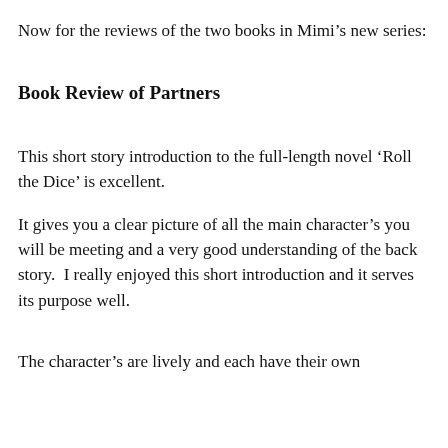Now for the reviews of the two books in Mimi’s new series:
Book Review of Partners
This short story introduction to the full-length novel ‘Roll the Dice’ is excellent.
It gives you a clear picture of all the main character’s you will be meeting and a very good understanding of the back story.  I really enjoyed this short introduction and it serves its purpose well.
The character’s are lively and each have their own